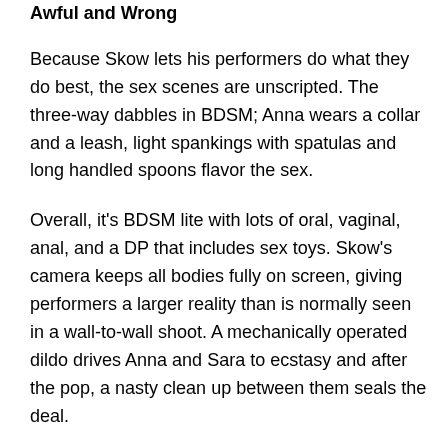Awful and Wrong
Because Skow lets his performers do what they do best, the sex scenes are unscripted. The three-way dabbles in BDSM; Anna wears a collar and a leash, light spankings with spatulas and long handled spoons flavor the sex.
Overall, it's BDSM lite with lots of oral, vaginal, anal, and a DP that includes sex toys. Skow's camera keeps all bodies fully on screen, giving performers a larger reality than is normally seen in a wall-to-wall shoot. A mechanically operated dildo drives Anna and Sara to ecstasy and after the pop, a nasty clean up between them seals the deal.
Sara says she never “felt so much pain” and “it was awful and wrong, but great,” a phrase that indicts Tom. Like a wounded adolescent, the guilt ridden doctor retreats into his fantasies to ward off his own anxieties. Unconsciously